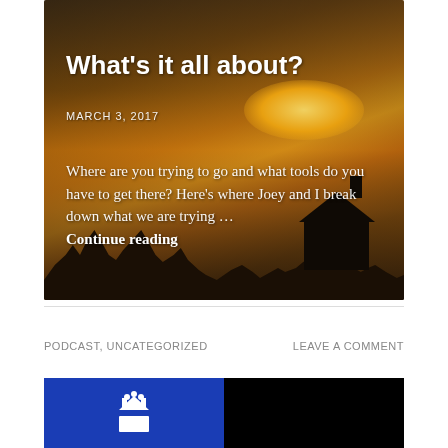[Figure (photo): Sunset landscape with silhouette of trees and house, warm orange/golden sky with overlaid blog post title, date, and excerpt text]
What's it all about?
MARCH 3, 2017
Where are you trying to go and what tools do you have to get there? Here's where Joey and I break down what we are trying … Continue reading
PODCAST, UNCATEGORIZED
LEAVE A COMMENT
[Figure (photo): Partial view of next blog post card — left half blue with white crown icon, right half black]